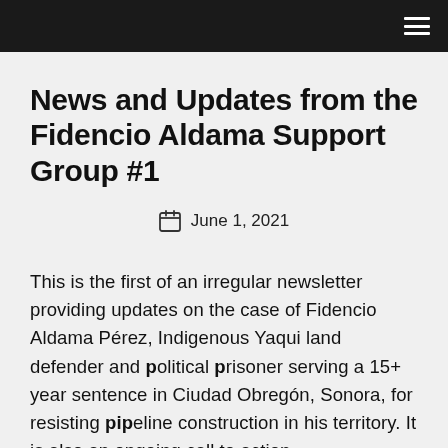≡
News and Updates from the Fidencio Aldama Support Group #1
June 1, 2021
This is the first of an irregular newsletter providing updates on the case of Fidencio Aldama Pérez, Indigenous Yaqui land defender and political prisoner serving a 15+ year sentence in Ciudad Obregón, Sonora, for resisting pipeline construction in his territory. It is also an ongoing call to action